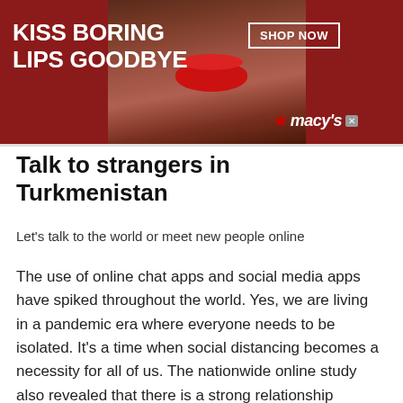[Figure (screenshot): Macy's advertisement banner with red background, text 'KISS BORING LIPS GOODBYE', woman's face with red lips in center, 'SHOP NOW' button and Macy's star logo on right]
Talk to strangers in Turkmenistan
Let's talk to the world or meet new people online
The use of online chat apps and social media apps have spiked throughout the world. Yes, we are living in a pandemic era where everyone needs to be isolated. It's a time when social distancing becomes a necessity for all of us. The nationwide online study also revealed that there is a strong relationship
[Figure (screenshot): Wayfair.com online home store advertisement with purple bedroom image, title 'Wayfair.com - Online Home Store Sale!', description 'Shop for A Zillion Things Home across all styles at Wayfair!', URL www.wayfair.com, and blue circular arrow button]